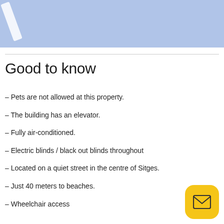[Figure (illustration): Blue banner header with a white diagonal slash/line icon on the left side]
Good to know
– Pets are not allowed at this property.
– The building has an elevator.
– Fully air-conditioned.
– Electric blinds / black out blinds throughout
– Located on a quiet street in the centre of Sitges.
– Just 40 meters to beaches.
– Wheelchair access
[Figure (illustration): Yellow rounded square button with envelope/email icon]